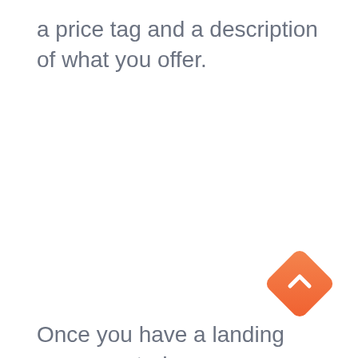a price tag and a description of what you offer.
[Figure (illustration): Orange gradient diamond/rhombus shaped button with a white upward chevron arrow in the center, positioned in the bottom-right corner of the page.]
Once you have a landing page created, you